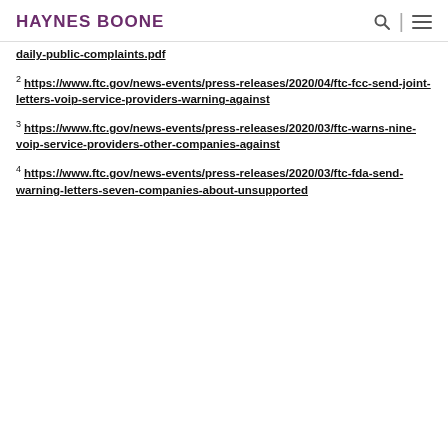HAYNES BOONE
daily-public-complaints.pdf
2 https://www.ftc.gov/news-events/press-releases/2020/04/ftc-fcc-send-joint-letters-voip-service-providers-warning-against
3 https://www.ftc.gov/news-events/press-releases/2020/03/ftc-warns-nine-voip-service-providers-other-companies-against
4 https://www.ftc.gov/news-events/press-releases/2020/03/ftc-fda-send-warning-letters-seven-companies-about-unsupported